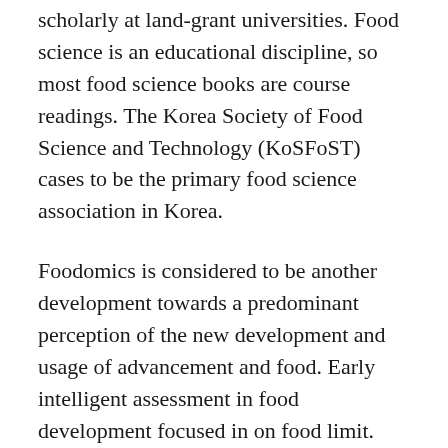scholarly at land-grant universities. Food science is an educational discipline, so most food science books are course readings. The Korea Society of Food Science and Technology (KoSFoST) cases to be the primary food science association in Korea.
Foodomics is considered to be another development towards a predominant perception of the new development and usage of advancement and food. Early intelligent assessment in food development focused in on food limit. For example, food advancement fuses the thoughts of substance planning.
Food planning is an advanced communication used to make food. Food science is the